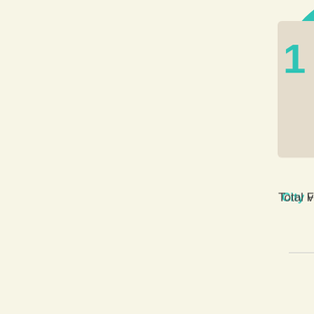[Figure (pie-chart): City vs Highway Driving]
City vs Highway Driving
[Figure (bar-chart): Average Consumption (MPG)]